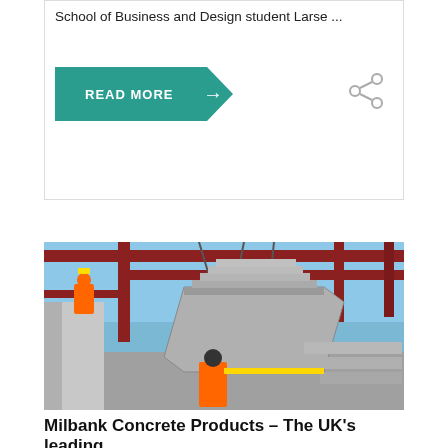School of Business and Design student Larse ...
[Figure (other): READ MORE button with teal/green arrow shape pointing right, and a share icon (circles connected) on the right side]
[Figure (photo): Construction site photo showing precast concrete staircase being lifted by crane chains. Workers in orange high-visibility jackets visible. Red steel framework structure in background against blue sky.]
Milbank Concrete Products – The UK's leading ...